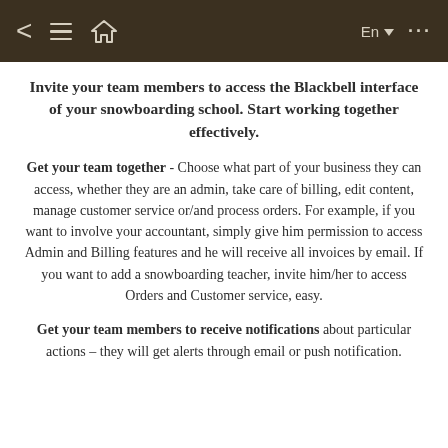< ≡ ⌂   En ▼  ...
Invite your team members to access the Blackbell interface of your snowboarding school. Start working together effectively.
Get your team together - Choose what part of your business they can access, whether they are an admin, take care of billing, edit content, manage customer service or/and process orders. For example, if you want to involve your accountant, simply give him permission to access Admin and Billing features and he will receive all invoices by email. If you want to add a snowboarding teacher, invite him/her to access Orders and Customer service, easy.
Get your team members to receive notifications about particular actions – they will get alerts through email or push notification.